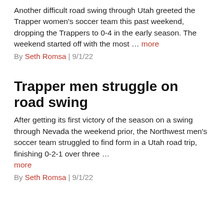Another difficult road swing through Utah greeted the Trapper women's soccer team this past weekend, dropping the Trappers to 0-4 in the early season. The weekend started off with the most … more
By Seth Romsa | 9/1/22
Trapper men struggle on road swing
After getting its first victory of the season on a swing through Nevada the weekend prior, the Northwest men's soccer team struggled to find form in a Utah road trip, finishing 0-2-1 over three … more
By Seth Romsa | 9/1/22